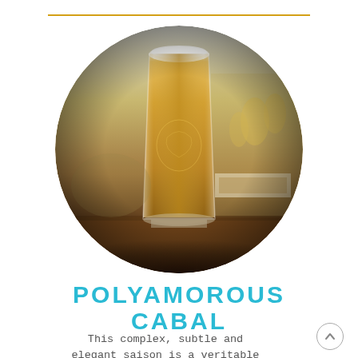[Figure (photo): A pint glass of golden beer with engraved logo, sitting on a bar counter with trophies blurred in the background, displayed in a circular crop]
POLYAMOROUS CABAL
This complex, subtle and elegant saison is a veritable array of flavor. A truly